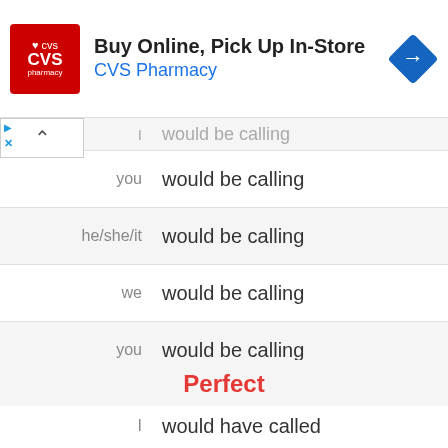[Figure (screenshot): CVS Pharmacy advertisement banner: Buy Online, Pick Up In-Store]
| pronoun | form |
| --- | --- |
| I | would be calling |
| you | would be calling |
| he/she/it | would be calling |
| we | would be calling |
| you | would be calling |
| they | would be calling |
Perfect
| pronoun | form |
| --- | --- |
| I | would have called |
| you | would have called |
| he/she/it | would have called |
| we | would have called |
| you | would have called |